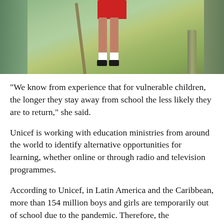[Figure (photo): Photo of a child in red shorts and black shoes/white socks viewed from below, standing against a weathered teal/green wall, with crutches or sticks visible.]
“We know from experience that for vulnerable children, the longer they stay away from school the less likely they are to return,” she said.
Unicef is working with education ministries from around the world to identify alternative opportunities for learning, whether online or through radio and television programmes.
According to Unicef, in Latin America and the Caribbean, more than 154 million boys and girls are temporarily out of school due to the pandemic. Therefore, the organisation is promoting a regional campaign through its digital channels to provide families and educators across the region with free educational tools and entertainment, as well as advice